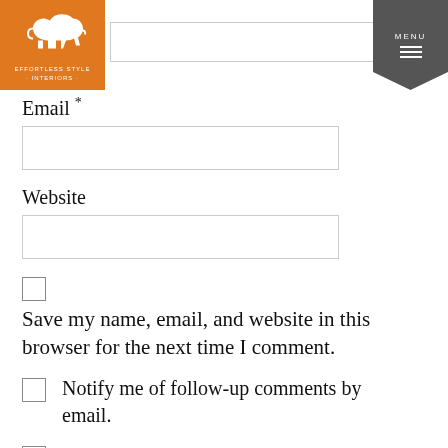[Figure (logo): Orange square logo with white elephant silhouette and text EFFORTLESS STYLE INTERIORS]
[Figure (other): Dark grey ribbon-shaped menu button with MENU text and three horizontal lines icon]
Email *
Website
Save my name, email, and website in this browser for the next time I comment.
Notify me of follow-up comments by email.
Notify me of new posts by email.